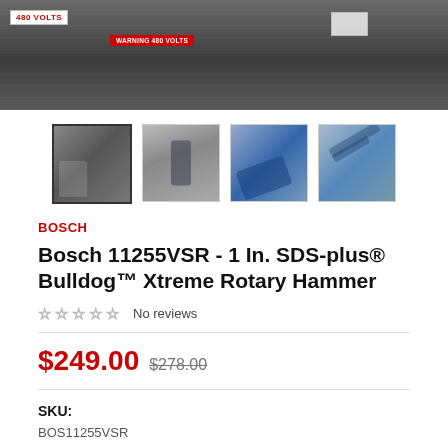[Figure (photo): Main product image showing a warehouse or industrial area with '480 VOLTS' sign on left and red 'WARNING 480 VOLTS' label on metal surface]
[Figure (photo): Four thumbnail images of the Bosch rotary hammer drill product: 1) person using drill in wall, 2) drill tool standalone, 3) blue drill tool, 4) drill on pegboard]
BOSCH
Bosch 11255VSR - 1 In. SDS-plus® Bulldog™ Xtreme Rotary Hammer
☆☆☆☆☆ No reviews
$249.00 $278.00
SKU:
BOS11255VSR